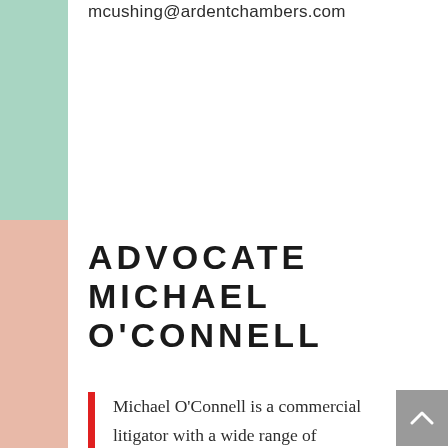mcushing@ardentchambers.com
ADVOCATE MICHAEL O'CONNELL
Michael O'Connell is a commercial litigator with a wide range of experience, including, trust, contractual and